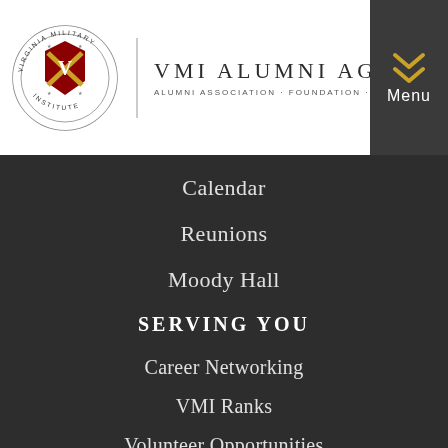[Figure (logo): VMI Alumni Agencies logo with circular VMI seal on left, vertical divider, and text 'VMI ALUMNI AGENCIES' with subtitle 'ALUMNI ASSOCIATION · FOUNDATION · KEYDET CLUB']
[Figure (other): Dark grey Menu button with gold chevron icon and white 'Menu' label]
Calendar
Reunions
Moody Hall
SERVING YOU
Career Networking
VMI Ranks
Volunteer Opportunities
Find Your Chapter